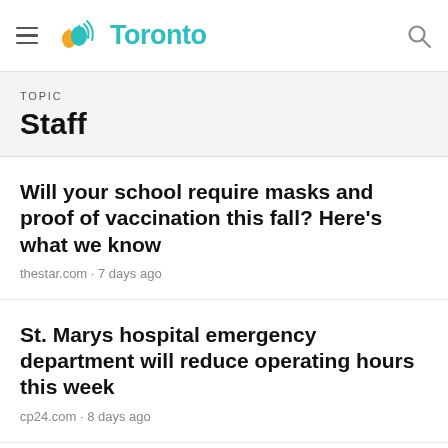Toronto
TOPIC
Staff
Will your school require masks and proof of vaccination this fall? Here's what we know
thestar.com · 7 days ago
St. Marys hospital emergency department will reduce operating hours this week
cp24.com · 8 days ago
Doctors stay in Ukraine's war-hit towns: 'People need us'